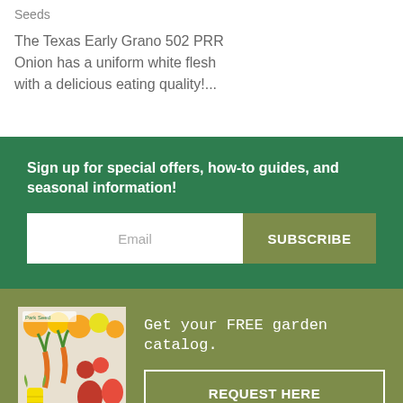Seeds
The Texas Early Grano 502 PRR Onion has a uniform white flesh with a delicious eating quality!...
Sign up for special offers, how-to guides, and seasonal information!
Email
SUBSCRIBE
[Figure (illustration): Garden catalog cover showing colorful vegetables including carrots, radishes, peppers, corn, and herbs]
Get your FREE garden catalog.
REQUEST HERE